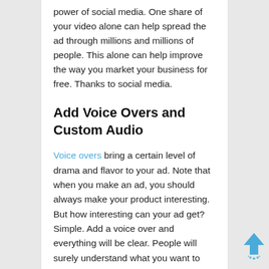power of social media. One share of your video alone can help spread the ad through millions and millions of people. This alone can help improve the way you market your business for free. Thanks to social media.
Add Voice Overs and Custom Audio
Voice overs bring a certain level of drama and flavor to your ad. Note that when you make an ad, you should always make your product interesting. But how interesting can your ad get? Simple. Add a voice over and everything will be clear. People will surely understand what you want to convey with your ad and add a little bit of drama with how the voice over portrays the lines. This makes it one of the most dramatic yet effective ad you can do. Custom audios also help improve the way
[Figure (illustration): Blue upward arrow icon with sparkle dots at the bottom, positioned in the lower right corner]